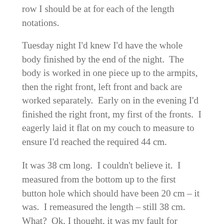row I should be at for each of the length notations.
Tuesday night I'd knew I'd have the whole body finished by the end of the night.  The body is worked in one piece up to the armpits, then the right front, left front and back are worked separately.  Early on in the evening I'd finished the right front, my first of the fronts.  I eagerly laid it flat on my couch to measure to ensure I'd reached the required 44 cm.
It was 38 cm long.  I couldn't believe it.  I measured from the bottom up to the first button hole which should have been 20 cm – it was.  I remeasured the length – still 38 cm.  What?  Ok, I thought, it was my fault for measuring on a couch.  I went and got a foam tile and my pins, laid it out and remeasured.  Even with SEVERE blocking, there was no way it would reach 44 cm.  I realized maybe I'd counted my gauge on the couch last year.  Stupid me for not pinning it out!  That will teach me.  I patiently wrote